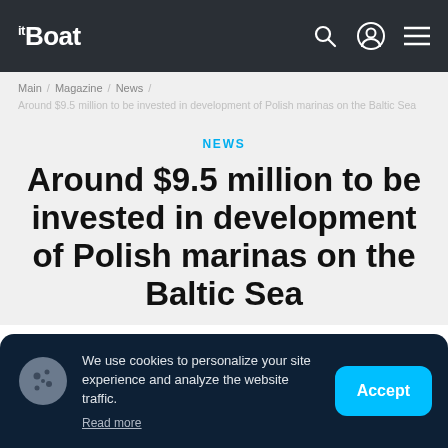itBoat
Main / Magazine / News / Around $9.5 million to be invested in development of Polish marinas on the Baltic Sea
NEWS
Around $9.5 million to be invested in development of Polish marinas on the Baltic Sea
We use cookies to personalize your site experience and analyze the website traffic. Read more